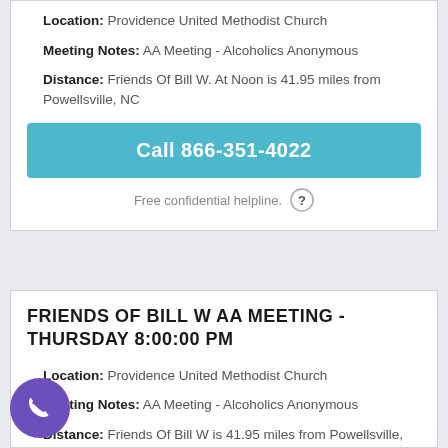Location: Providence United Methodist Church
Meeting Notes: AA Meeting - Alcoholics Anonymous
Distance: Friends Of Bill W. At Noon is 41.95 miles from Powellsville, NC
Call 866-351-4022
Free confidential helpline.
FRIENDS OF BILL W AA MEETING - THURSDAY 8:00:00 PM
Location: Providence United Methodist Church
Meeting Notes: AA Meeting - Alcoholics Anonymous
Distance: Friends Of Bill W is 41.95 miles from Powellsville, NC